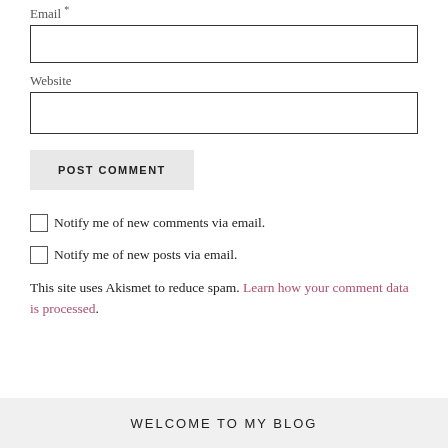Email *
[Figure (other): Empty text input box for Email field]
Website
[Figure (other): Empty text input box for Website field]
POST COMMENT
Notify me of new comments via email.
Notify me of new posts via email.
This site uses Akismet to reduce spam. Learn how your comment data is processed.
WELCOME TO MY BLOG